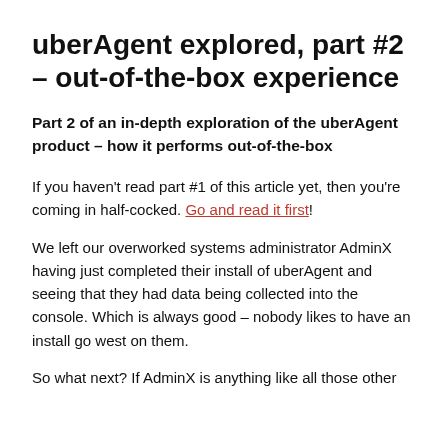uberAgent explored, part #2 – out-of-the-box experience
Part 2 of an in-depth exploration of the uberAgent product – how it performs out-of-the-box
If you haven't read part #1 of this article yet, then you're coming in half-cocked. Go and read it first!
We left our overworked systems administrator AdminX having just completed their install of uberAgent and seeing that they had data being collected into the console. Which is always good – nobody likes to have an install go west on them.
So what next? If AdminX is anything like all those other